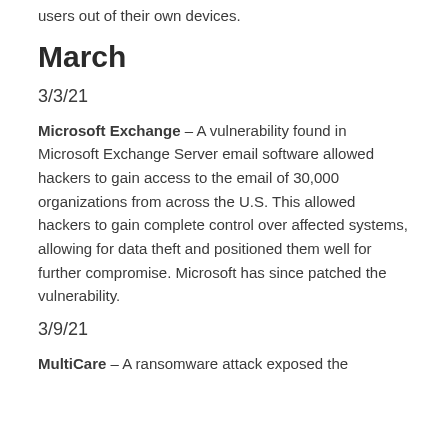users out of their own devices.
March
3/3/21
Microsoft Exchange – A vulnerability found in Microsoft Exchange Server email software allowed hackers to gain access to the email of 30,000 organizations from across the U.S. This allowed hackers to gain complete control over affected systems, allowing for data theft and positioned them well for further compromise. Microsoft has since patched the vulnerability.
3/9/21
MultiCare – A ransomware attack exposed the